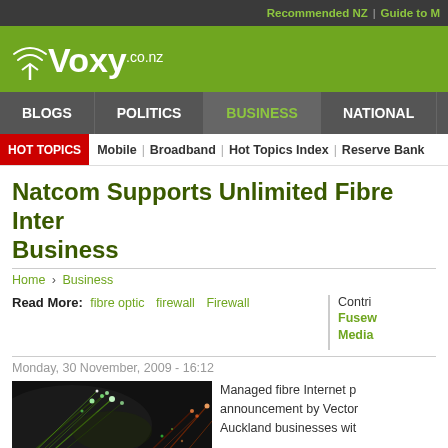Recommended NZ | Guide to M
[Figure (logo): Voxy.co.nz logo on green background]
BLOGS | POLITICS | BUSINESS | NATIONAL
HOT TOPICS | Mobile | Broadband | Hot Topics Index | Reserve Bank
Natcom Supports Unlimited Fibre Inter Business
Home › Business
Read More: fibre optic   firewall   Firewall
Contrib Fusew Media
Monday, 30 November, 2009 - 16:12
[Figure (photo): Fibre optic cables glowing with light — dark background with green and red light streaks]
Managed fibre Internet p announcement by Vector Auckland businesses wit